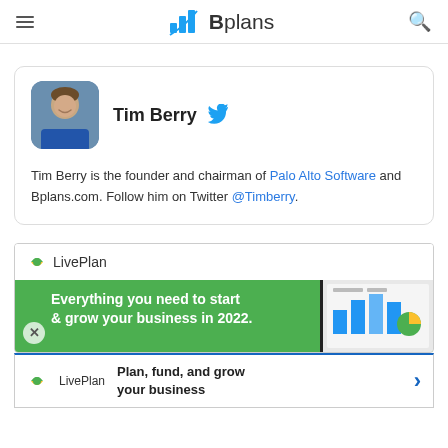Bplans
[Figure (photo): Author profile card showing Tim Berry with avatar photo, Twitter bird icon, and bio text]
Tim Berry is the founder and chairman of Palo Alto Software and Bplans.com. Follow him on Twitter @Timberry.
[Figure (screenshot): LivePlan advertisement banner: Everything you need to start & grow your business in 2022.]
Plan, fund, and grow your business